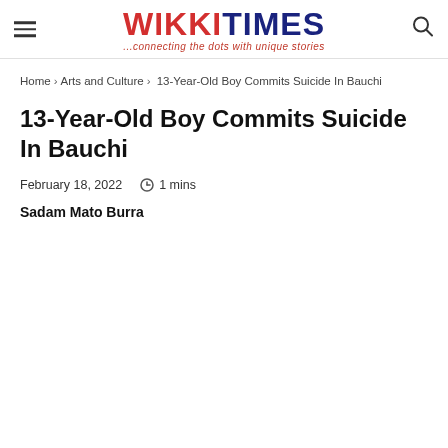WIKKI TIMES ...connecting the dots with unique stories
Home › Arts and Culture › 13-Year-Old Boy Commits Suicide In Bauchi
13-Year-Old Boy Commits Suicide In Bauchi
February 18, 2022  1 mins
Sadam Mato Burra